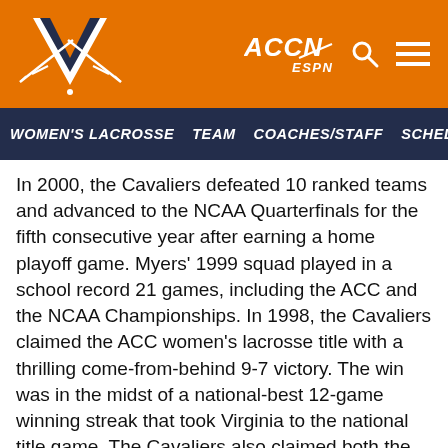University of Virginia Athletics — Women's Lacrosse
WOMEN'S LACROSSE   TEAM   COACHES/STAFF   SCHEDULE   ST...
In 2000, the Cavaliers defeated 10 ranked teams and advanced to the NCAA Quarterfinals for the fifth consecutive year after earning a home playoff game. Myers' 1999 squad played in a school record 21 games, including the ACC and the NCAA Championships. In 1998, the Cavaliers claimed the ACC women's lacrosse title with a thrilling come-from-behind 9-7 victory. The win was in the midst of a national-best 12-game winning streak that took Virginia to the national title game. The Cavaliers also claimed both the ACC Player of the Year and a National Player of the Year en route to a then-school-record 17 victories in 20 games, a school record at that time. At the conclusion of the season, four members of the 1998 squad